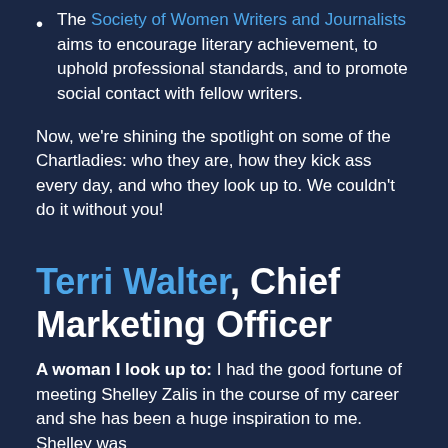The Society of Women Writers and Journalists aims to encourage literary achievement, to uphold professional standards, and to promote social contact with fellow writers.
Now, we're shining the spotlight on some of the Chartladies: who they are, how they kick ass every day, and who they look up to. We couldn't do it without you!
Terri Walter, Chief Marketing Officer
A woman I look up to: I had the good fortune of meeting Shelley Zalis in the course of my career and she has been a huge inspiration to me. Shelley was